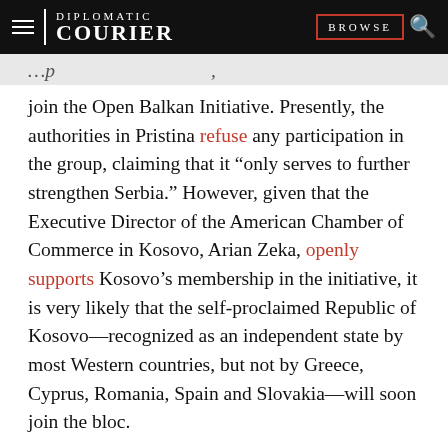DIPLOMATIC COURIER | BROWSE
join the Open Balkan Initiative. Presently, the authorities in Pristina refuse any participation in the group, claiming that it “only serves to further strengthen Serbia.” However, given that the Executive Director of the American Chamber of Commerce in Kosovo, Arian Zeka, openly supports Kosovo’s membership in the initiative, it is very likely that the self-proclaimed Republic of Kosovo—recognized as an independent state by most Western countries, but not by Greece, Cyprus, Romania, Spain and Slovakia—will soon join the bloc.
It is worth remembering that Montenegro also initially opposed joining the Open Balkan Initiative, but recently the country’s Prime Minister, Dritan Abazovic, said that his cabinet would consider joining Serbia,